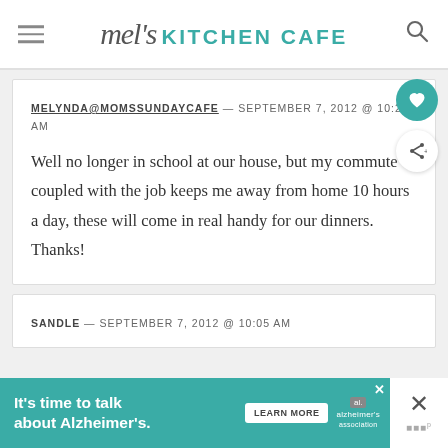mel's KITCHEN CAFE
MELYNDA@MOMSSUNDAYCAFE — SEPTEMBER 7, 2012 @ 10:22 AM

Well no longer in school at our house, but my commute coupled with the job keeps me away from home 10 hours a day, these will come in real handy for our dinners. Thanks!
SANDLE — SEPTEMBER 7, 2012 @ 10:05 AM
It's time to talk about Alzheimer's.